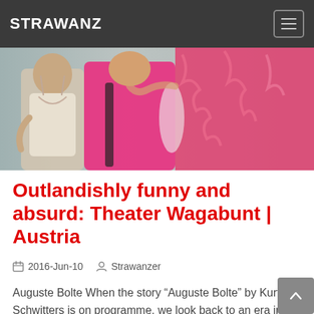STRAWANZ
[Figure (photo): Theater performance photo showing an older man in a white top and a person in a bright pink outfit, with a large pink furry costume visible on the right side.]
Outlandishly funny and absurd: Theater Wagabunt | Austria
2016-Jun-10  Strawanzer
Auguste Bolte When the story “Auguste Bolte” by Kurt Schwitters is on programme, we look back to an era in which artists ran against politics and the